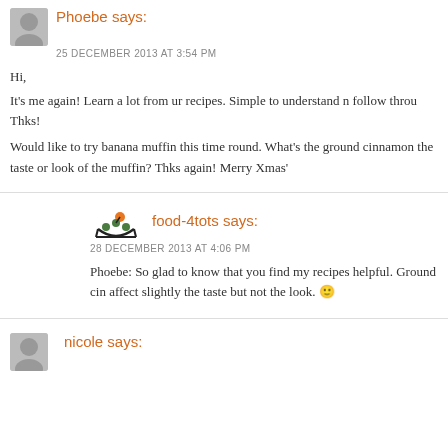Phoebe says:
25 DECEMBER 2013 AT 3:54 PM
Hi,

It's me again! Learn a lot from ur recipes. Simple to understand n follow throu Thks!

Would like to try banana muffin this time round. What's the ground cinnamon the taste or look of the muffin? Thks again! Merry Xmas'
food-4tots says:
28 DECEMBER 2013 AT 4:06 PM
Phoebe: So glad to know that you find my recipes helpful. Ground cin affect slightly the taste but not the look. 🙂
nicole says: